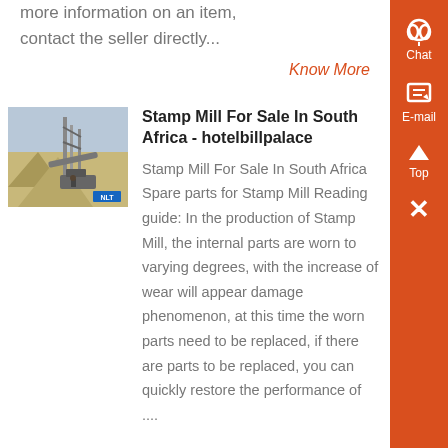more information on an item, contact the seller directly...
Know More
Stamp Mill For Sale In South Africa - hotelbillpalace
[Figure (photo): Industrial stamp mill machinery with sand piles in desert setting, with a small blue label in the corner]
Stamp Mill For Sale In South Africa Spare parts for Stamp Mill Reading guide: In the production of Stamp Mill, the internal parts are worn to varying degrees, with the increase of wear will appear damage phenomenon, at this time the worn parts need to be replaced, if there are parts to be replaced, you can quickly restore the performance of ....